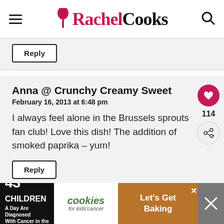Rachel Cooks
Reply
Anna @ Crunchy Creamy Sweet
February 16, 2013 at 6:48 pm
I always feel alone in the Brussels sprouts fan club! Love this dish! The addition of smoked paprika – yum!
Reply
[Figure (screenshot): Advertisement banner: 43 Children A Day Are Diagnosed With Cancer in the U.S. — cookies for kids' cancer — Let's Get Baking]